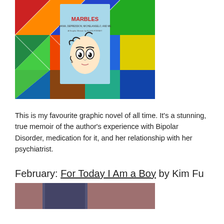[Figure (photo): Photo of the graphic novel 'Marbles' book cover resting on a colorful patchwork quilt. The book cover is light blue with a cartoon face and the title 'MARBLES' in red letters along with subtitle text about mania, depression, michelangelo, and me.]
This is my favourite graphic novel of all time. It's a stunning, true memoir of the author's experience with Bipolar Disorder, medication for it, and her relationship with her psychiatrist.
February: For Today I Am a Boy by Kim Fu
[Figure (photo): Partial photo of a book on a purple/maroon surface, bottom portion of image visible.]